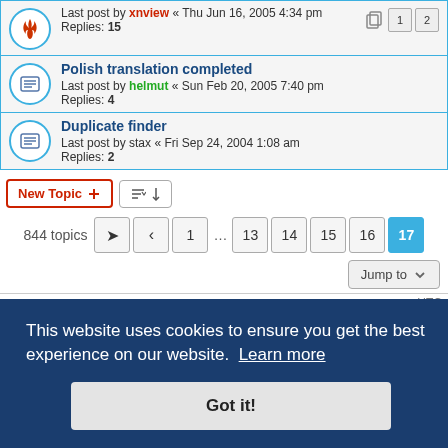Last post by xnview « Thu Jun 16, 2005 4:34 pm
Replies: 15
Polish translation completed
Last post by helmut « Sun Feb 20, 2005 7:40 pm
Replies: 4
Duplicate finder
Last post by stax « Fri Sep 24, 2004 1:08 am
Replies: 2
New Topic  [sort icon]  844 topics  1 ... 13 14 15 16 17
Jump to
FORUM PERMISSIONS
This website uses cookies to ensure you get the best experience on our website. Learn more
Got it!